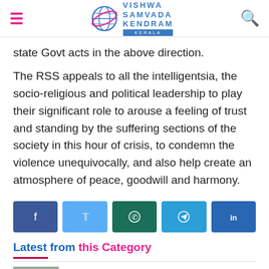Vishwa Samvada Kendram Kerala
state Govt acts in the above direction.
The RSS appeals to all the intelligentsia, the socio-religious and political leadership to play their significant role to arouse a feeling of trust and standing by the suffering sections of the society in this hour of crisis, to condemn the violence unequivocally, and also help create an atmosphere of peace, goodwill and harmony.
[Figure (infographic): Social share buttons: Facebook, Twitter, WhatsApp, Telegram, LinkedIn]
Latest from this Category
Indo-US special forces joint exercise